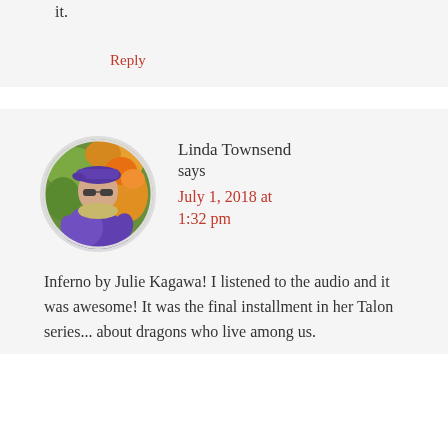it.
Reply
Linda Townsend says
July 1, 2018 at 1:32 pm
[Figure (photo): Circular avatar photo of Linda Townsend, a woman wearing a purple cap and sunglasses, with colorful flowers in the background]
Inferno by Julie Kagawa! I listened to the audio and it was awesome! It was the final installment in her Talon series... about dragons who live among us.